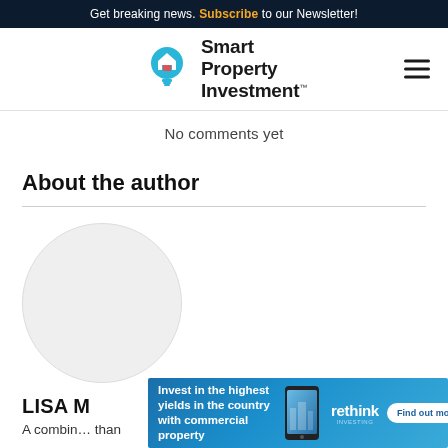Get breaking news. Subscribe to our Newsletter!
[Figure (logo): Smart Property Investment logo with lightbulb icon]
No comments yet
About the author
[Figure (photo): Author profile photo placeholder circle]
LISA M
A combin than
[Figure (infographic): Advertisement banner: Invest in the highest yields in the country with commercial property - rethink investing - Find out more]